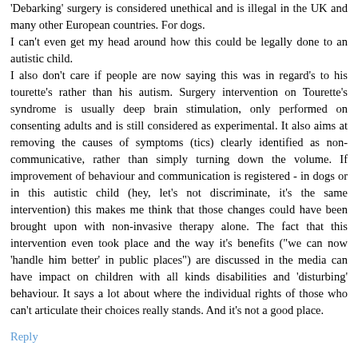'Debarking' surgery is considered unethical and is illegal in the UK and many other European countries. For dogs.
I can't even get my head around how this could be legally done to an autistic child.
I also don't care if people are now saying this was in regard's to his tourette's rather than his autism. Surgery intervention on Tourette's syndrome is usually deep brain stimulation, only performed on consenting adults and is still considered as experimental. It also aims at removing the causes of symptoms (tics) clearly identified as non-communicative, rather than simply turning down the volume. If improvement of behaviour and communication is registered - in dogs or in this autistic child (hey, let's not discriminate, it's the same intervention) this makes me think that those changes could have been brought upon with non-invasive therapy alone. The fact that this intervention even took place and the way it's benefits ("we can now 'handle him better' in public places") are discussed in the media can have impact on children with all kinds disabilities and 'disturbing' behaviour. It says a lot about where the individual rights of those who can't articulate their choices really stands. And it's not a good place.
Reply